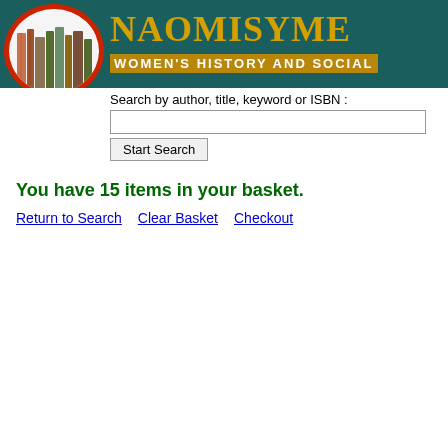[Figure (logo): NaomiSymes Women's History and Social header with books logo in red circle on dark teal background]
Search by author, title, keyword or ISBN :
You have 15 items in your basket.
Return to Search   Clear Basket   Checkout
|  | Order No. | Author | Short Title | Price (UK£) |
| --- | --- | --- | --- | --- |
| Remove | NSBK-C6700 | Klein, Viola | The Feminine Character: History of an Ideology | £4.00 |
| Remove | NSBK-A1866 | Yarwood, Derek | Outrages - Fatal & Other: A Chronicle of Cheshire Crime, 1612-1912 | £8.99 |
| Remove |  |  | Gladstone: Church, State... |  |